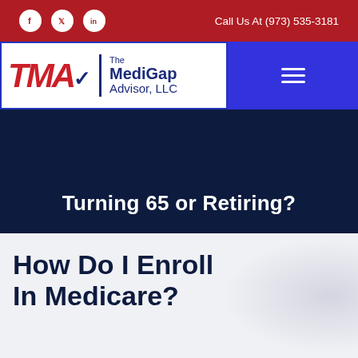Call Us At (973) 535-3181
[Figure (logo): The MediGap Advisor, LLC logo with TMA initials in red italic and company name in navy blue]
Turning 65 or Retiring?
How Do I Enroll In Medicare?